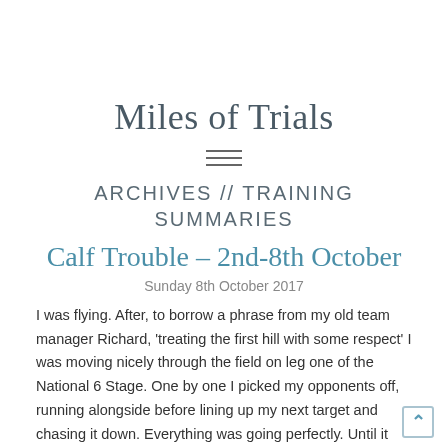Miles of Trials
[Figure (other): Hamburger menu icon — three horizontal lines]
ARCHIVES // TRAINING SUMMARIES
Calf Trouble – 2nd-8th October
Sunday 8th October 2017
I was flying. After, to borrow a phrase from my old team manager Richard, 'treating the first hill with some respect' I was moving nicely through the field on leg one of the National 6 Stage. One by one I picked my opponents off, running alongside before lining up my next target and chasing it down. Everything was going perfectly. Until it wasn't.